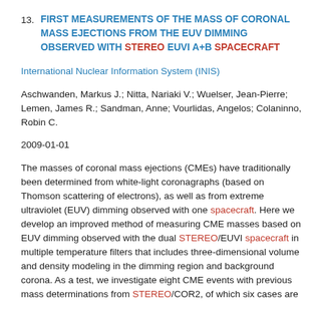13. FIRST MEASUREMENTS OF THE MASS OF CORONAL MASS EJECTIONS FROM THE EUV DIMMING OBSERVED WITH STEREO EUVI A+B SPACECRAFT
International Nuclear Information System (INIS)
Aschwanden, Markus J.; Nitta, Nariaki V.; Wuelser, Jean-Pierre; Lemen, James R.; Sandman, Anne; Vourlidas, Angelos; Colaninno, Robin C.
2009-01-01
The masses of coronal mass ejections (CMEs) have traditionally been determined from white-light coronagraphs (based on Thomson scattering of electrons), as well as from extreme ultraviolet (EUV) dimming observed with one spacecraft. Here we develop an improved method of measuring CME masses based on EUV dimming observed with the dual STEREO/EUVI spacecraft in multiple temperature filters that includes three-dimensional volume and density modeling in the dimming region and background corona. As a test, we investigate eight CME events with previous mass determinations from STEREO/COR2, of which six cases are